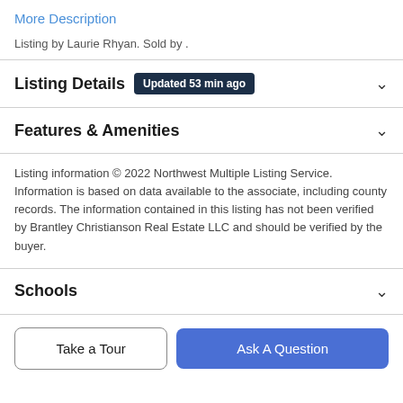More Description
Listing by Laurie Rhyan. Sold by .
Listing Details  Updated 53 min ago
Features & Amenities
Listing information © 2022 Northwest Multiple Listing Service. Information is based on data available to the associate, including county records. The information contained in this listing has not been verified by Brantley Christianson Real Estate LLC and should be verified by the buyer.
Schools
Take a Tour
Ask A Question